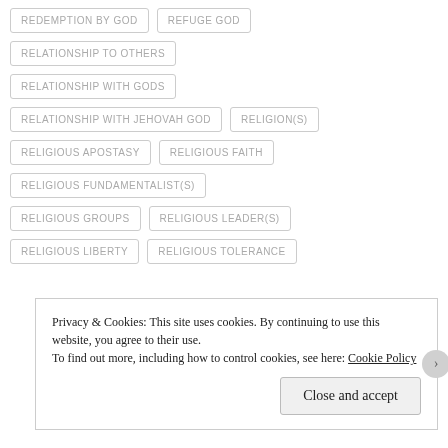REDEMPTION BY GOD
REFUGE GOD
RELATIONSHIP TO OTHERS
RELATIONSHIP WITH GODS
RELATIONSHIP WITH JEHOVAH GOD
RELIGION(S)
RELIGIOUS APOSTASY
RELIGIOUS FAITH
RELIGIOUS FUNDAMENTALIST(S)
RELIGIOUS GROUPS
RELIGIOUS LEADER(S)
RELIGIOUS LIBERTY
RELIGIOUS TOLERANCE
Privacy & Cookies: This site uses cookies. By continuing to use this website, you agree to their use. To find out more, including how to control cookies, see here: Cookie Policy
Close and accept